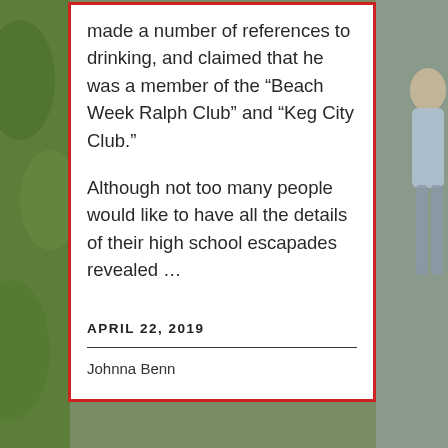[Figure (photo): Outdoor greenery background visible on left and right sides behind the content card]
made a number of references to drinking, and claimed that he was a member of the “Beach Week Ralph Club” and “Keg City Club.”
Although not too many people would like to have all the details of their high school escapades revealed …
APRIL 22, 2019
Johnna Benn
[Figure (photo): Photo of young people outdoors, one holding a camera to their eye, others visible in background]